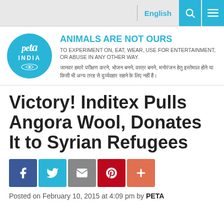English
[Figure (logo): PETA India circular logo, light blue background with white text]
ANIMALS ARE NOT OURS TO EXPERIMENT ON, EAT, WEAR, USE FOR ENTERTAINMENT, OR ABUSE IN ANY OTHER WAY.
जानवर हमारे परीक्षण करने, भोजन बनने, वस्त्र बनने, मनोरंजन हेतु इस्तेमाल होने या किसी भी अन्य तरह से दुर्व्यवहार सहने के लिए नहीं हैं।
Victory! Inditex Pulls Angora Wool, Donates It to Syrian Refugees
[Figure (infographic): Social share buttons: Facebook (blue), Twitter (cyan), Email (grey), Pinterest (red), Plus (orange-red)]
Posted on February 10, 2015 at 4:09 pm by PETA